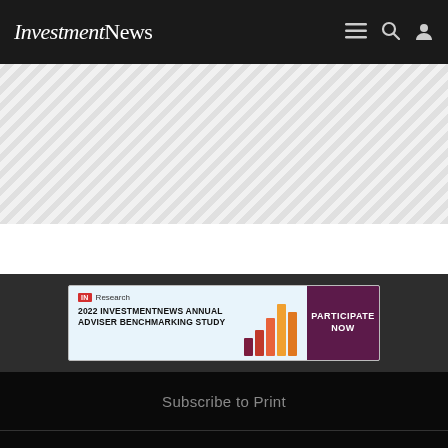InvestmentNews
[Figure (other): Hatched/striped grey placeholder area, likely an advertisement or image loading zone]
[Figure (infographic): IN Research banner ad: '2022 INVESTMENTNEWS ANNUAL ADVISER BENCHMARKING STUDY' with bar chart graphic and 'PARTICIPATE NOW' button in dark purple]
Subscribe to Print
Newsletter Sign-up